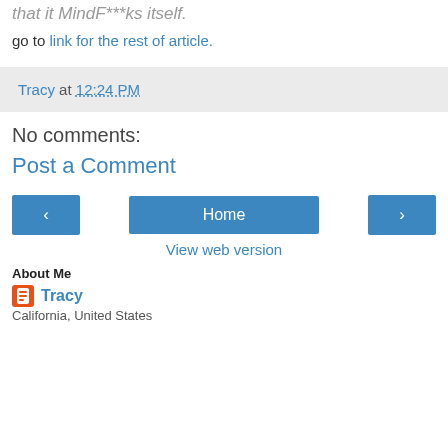that it MindF***ks itself.
go to link for the rest of article.
Tracy at 12:24 PM
No comments:
Post a Comment
[Figure (other): Navigation buttons: left arrow, Home, right arrow, and View web version link]
About Me
Tracy
California, United States